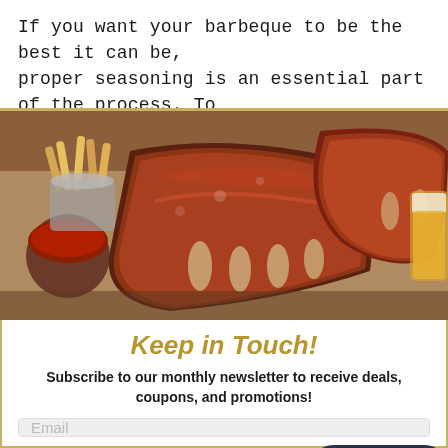If you want your barbeque to be the best it can be, proper seasoning is an essential part of the process. To help you take the guesswork out of the seasoning
[Figure (photo): Photo of BBQ pork ribs with sauce, french fries, a cup of dipping sauce, and a glass of beer on a wooden surface.]
Keep in Touch!
Subscribe to our monthly newsletter to receive deals, coupons, and promotions!
Email
Sign up
Chat with us